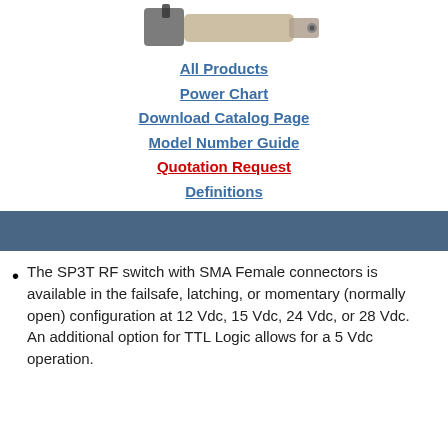[Figure (photo): Partial view of an SP3T RF switch product with SMA connectors, shown at the top of the page.]
All Products
Power Chart
Download Catalog Page
Model Number Guide
Quotation Request
Definitions
The SP3T RF switch with SMA Female connectors is available in the failsafe, latching, or momentary (normally open) configuration at 12 Vdc, 15 Vdc, 24 Vdc, or 28 Vdc. An additional option for TTL Logic allows for a 5 Vdc operation.